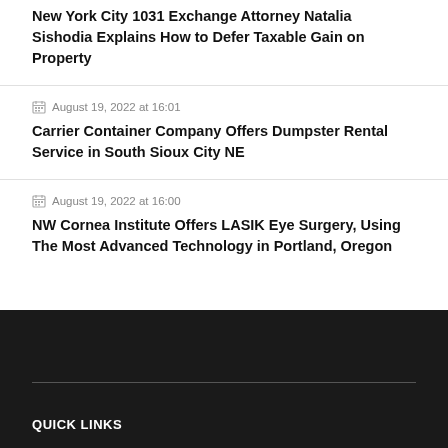New York City 1031 Exchange Attorney Natalia Sishodia Explains How to Defer Taxable Gain on Property
August 19, 2022 at 16:01
Carrier Container Company Offers Dumpster Rental Service in South Sioux City NE
August 19, 2022 at 16:00
NW Cornea Institute Offers LASIK Eye Surgery, Using The Most Advanced Technology in Portland, Oregon
QUICK LINKS